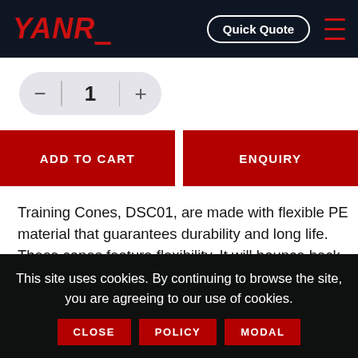YANRE | Quick Quote
[Figure (screenshot): Quantity selector with minus, 1, plus buttons in a pill-shaped grey box]
[Figure (infographic): Two red buttons: ADD TO CART and ENQUIRY]
Training Cones, DSC01, are made with flexible PE material that guarantees durability and long life. These cones feature flexibility. It will bounce back after getting stepped on,
This site uses cookies. By continuing to browse the site, you are agreeing to our use of cookies.
CLOSE | POLICY | MODAL